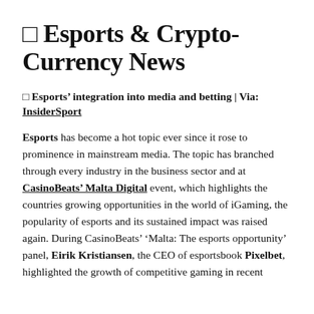🔲 Esports & Crypto-Currency News
🔲 Esports' integration into media and betting | Via: InsiderSport
Esports has become a hot topic ever since it rose to prominence in mainstream media. The topic has branched through every industry in the business sector and at CasinoBeats' Malta Digital event, which highlights the countries growing opportunities in the world of iGaming, the popularity of esports and its sustained impact was raised again. During CasinoBeats' 'Malta: The esports opportunity' panel, Eirik Kristiansen, the CEO of esportsbook Pixelbet, highlighted the growth of competitive gaming in recent